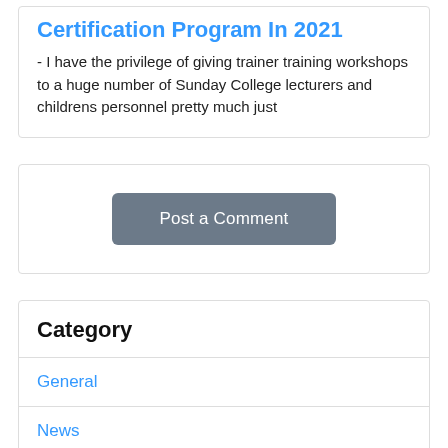Certification Program In 2021
- I have the privilege of giving trainer training workshops to a huge number of Sunday College lecturers and childrens personnel pretty much just
[Figure (other): Post a Comment button]
Category
General
News